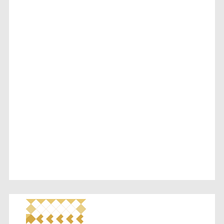[Figure (illustration): Golden/yellow geometric quilt-pattern avatar icon with diamond and triangle shapes on white background]
cyaueue | February 6, 2022 at 4:57 am | Reply
I don't see why the cause matters; doing your best to management weight is key. We're all born into some undesirable trait, but that doesn't preclude us (or someone else, in instances where one is